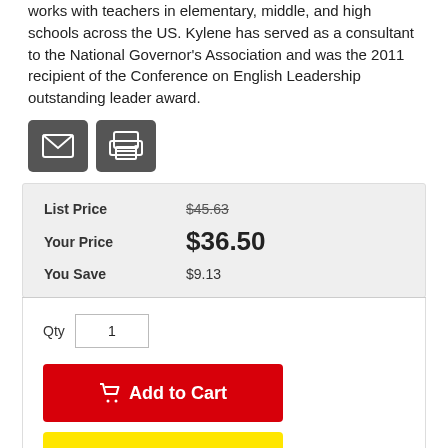works with teachers in elementary, middle, and high schools across the US. Kylene has served as a consultant to the National Governor's Association and was the 2011 recipient of the Conference on English Leadership outstanding leader award.
[Figure (other): Two icon buttons: an email (envelope) icon button and a print (printer) icon button, both with dark grey background.]
| List Price | $45.63 |
| Your Price | $36.50 |
| You Save | $9.13 |
Qty  1
Add to Cart
Add to Quote List